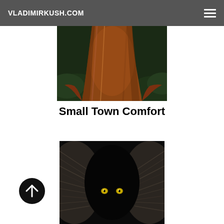VLADIMIRKUSH.COM
[Figure (photo): Close-up painting of a large reddish-brown tree trunk base with green foliage in the background, partially cropped at top]
Small Town Comfort
[Figure (photo): Painting of a black cat or panther hidden in dark fur or feathers, with glowing yellow-green eyes visible in the darkness]
[Figure (other): Black circular button with white upward arrow icon for scrolling to top]